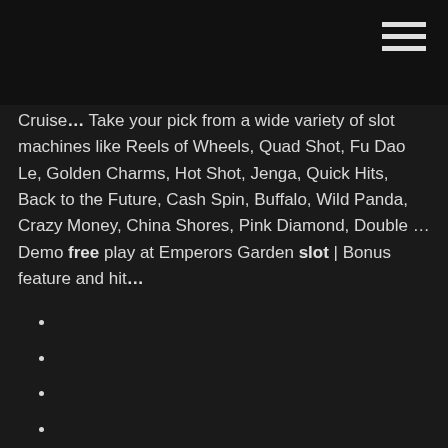Cruise… Take your pick from a wide variety of slot machines like Reels of Wheels, Quad Shot, Fu Dao Le, Golden Charms, Hot Shot, Jenga, Quick Hits, Back to the Future, Cash Spin, Buffalo, Wild Panda, Crazy Money, China Shores, Pink Diamond, Double … Demo free play at Emperors Garden slot | Bonus feature and hit…
Slots free casino house of fun itunes
Searche ordinateur roulette pas cher